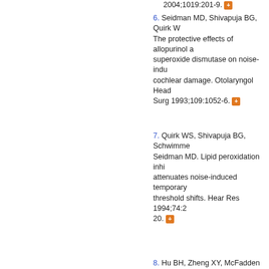2004;1019:201-9. [+]
6. Seidman MD, Shivapuja BG, Quirk W... The protective effects of allopurinol and superoxide dismutase on noise-induced cochlear damage. Otolaryngol Head Neck Surg 1993;109:1052-6. [+]
7. Quirk WS, Shivapuja BG, Schwimmer... Seidman MD. Lipid peroxidation inhibitor attenuates noise-induced temporary threshold shifts. Hear Res 1994;74:2-20. [+]
8. Hu BH, Zheng XY, McFadden SL, Ko RD, Henderson D. R- attenuates ... in the 113:198-2...
This website uses cookies. By continuing to use this website you are giving consent to cookies being used. For information on cookies and how you can disable them visit our
Privacy and Cookie Policy.
AGREE & PROCEED